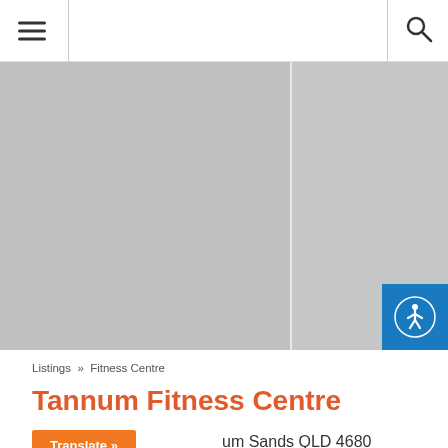Navigation bar with hamburger menu and search icon
[Figure (photo): Two-panel grey placeholder image area showing a map or location imagery, split vertically with an accessibility icon button in the bottom right corner]
Listings » Fitness Centre
Tannum Fitness Centre
Tannum Sands QLD 4680